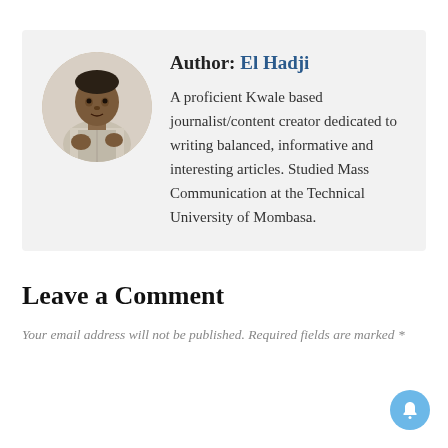[Figure (photo): Circular avatar photo of author El Hadji, a man in a light shirt]
Author: El Hadji
A proficient Kwale based journalist/content creator dedicated to writing balanced, informative and interesting articles. Studied Mass Communication at the Technical University of Mombasa.
Leave a Comment
Your email address will not be published. Required fields are marked *